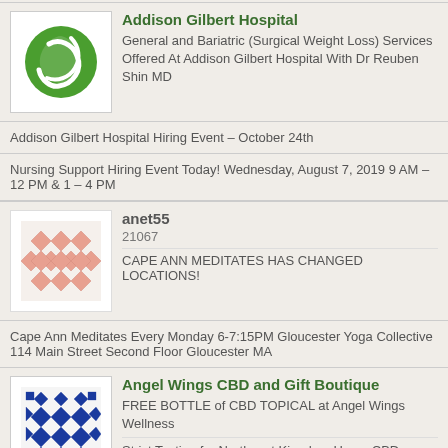[Figure (logo): Addison Gilbert Hospital logo - green circle with white design]
Addison Gilbert Hospital
General and Bariatric (Surgical Weight Loss) Services Offered At Addison Gilbert Hospital With Dr Reuben Shin MD
Addison Gilbert Hospital Hiring Event – October 24th
Nursing Support Hiring Event Today! Wednesday, August 7, 2019 9 AM – 12 PM & 1 – 4 PM
[Figure (illustration): anet55 user avatar - orange/salmon diamond pattern]
anet55
21067
CAPE ANN MEDITATES HAS CHANGED LOCATIONS!
Cape Ann Meditates Every Monday 6-7:15PM Gloucester Yoga Collective 114 Main Street Second Floor Gloucester MA
[Figure (logo): Angel Wings CBD and Gift Boutique logo - blue diamond/cross pattern]
Angel Wings CBD and Gift Boutique
FREE BOTTLE of CBD TOPICAL at Angel Wings Wellness
Strict Testing for Northeast Kingdom Hemp CBD